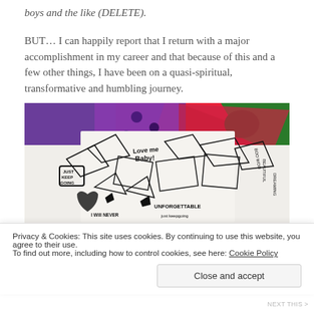boys and the like (DELETE).
BUT… I can happily report that I return with a major accomplishment in my career and that because of this and a few other things, I have been on a quasi-spiritual, transformative and humbling journey.
[Figure (illustration): Colorful mixed-media artwork with psychedelic background (red, purple, green) and black-and-white zentangle/doodle patterns in the foreground. Text visible in the artwork includes: 'Love me Baby!', 'JUST KEEP GOING', 'UNFORGETTABLE', 'I Will NEVER', 'just keepgoing', 'RIT', 'DREAMING', 'BEAUTIFUL', 'BOO WOO']
Privacy & Cookies: This site uses cookies. By continuing to use this website, you agree to their use.
To find out more, including how to control cookies, see here: Cookie Policy
Close and accept